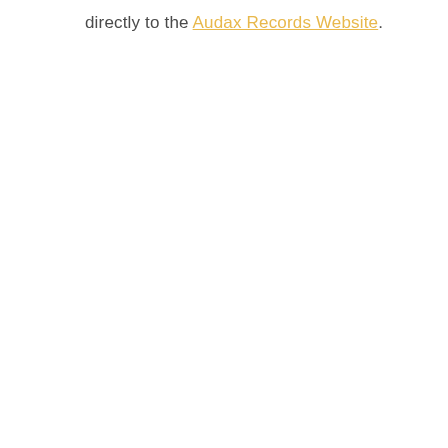directly to the Audax Records Website.